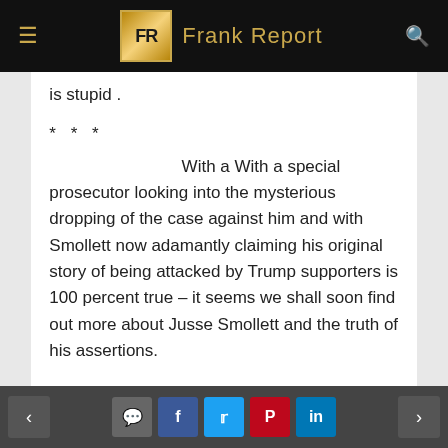Frank Report
is stupid .
***
With a With a special prosecutor looking into the mysterious dropping of the case against him and with Smollett now adamantly claiming his original story of being attacked by Trump supporters is 100 percent true – it seems we shall soon find out more about Jusse Smollett and the truth of his assertions.
Is he a victim of a hate crime – or did he make the whole thing up – and somehow for whatever reason – someone pulled strings to cover up his